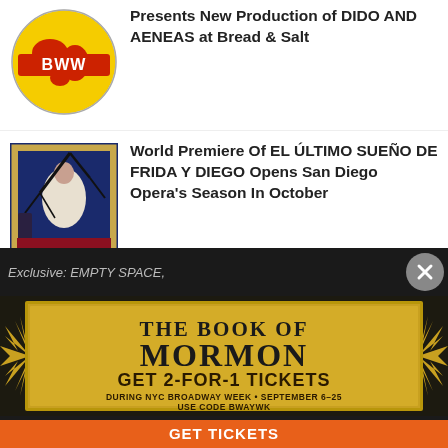[Figure (logo): BWW Broadway World logo - red globe with BWW text on red banner, yellow continents]
Presents New Production of DIDO AND AENEAS at Bread & Salt
[Figure (photo): El Último Sueño De Frida Y Diego opera poster - figure in white dress in blue room with dark tree branches]
World Premiere Of EL ÚLTIMO SUEÑO DE FRIDA Y DIEGO Opens San Diego Opera's Season In October
Exclusive: EMPTY SPACE,
[Figure (infographic): The Book of Mormon Broadway advertisement - gold spiky starburst background, text: THE BOOK OF MORMON, GET 2-FOR-1 TICKETS, DURING NYC BROADWAY WEEK • SEPTEMBER 6-25, USE CODE BWAYWK, GET TICKETS button in orange]